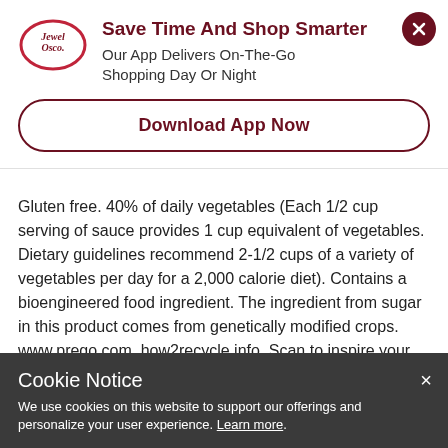[Figure (logo): Jewel-Osco logo — oval with red border, 'Jewel Osco.' text in dark red serif font]
Save Time And Shop Smarter
Our App Delivers On-The-Go Shopping Day Or Night
Download App Now
Gluten free. 40% of daily vegetables (Each 1/2 cup serving of sauce provides 1 cup equivalent of vegetables. Dietary guidelines recommend 2-1/2 cups of a variety of vegetables per day for a 2,000 calorie diet). Contains a bioengineered food ingredient. The ingredient from sugar in this product comes from genetically modified crops. www.prego.com. how2recycle.info. Scan to inspire your next Prego night! Questions or comments? Call us at 1-888-For-Prego. www.prego.com. Prego.com/recipes. Try our simple chicken parmesan casserole. Please recycle.
Cookie Notice
We use cookies on this website to support our offerings and personalize your user experience. Learn more.